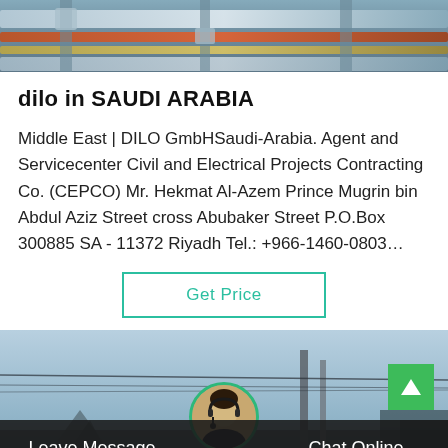[Figure (photo): Industrial pipes and equipment photo at top of page]
dilo in SAUDI ARABIA
Middle East | DILO GmbHSaudi-Arabia. Agent and Servicecenter Civil and Electrical Projects Contracting Co. (CEPCO) Mr. Hekmat Al-Azem Prince Mugrin bin Abdul Aziz Street cross Abubaker Street P.O.Box 300885 SA - 11372 Riyadh Tel.: +966-1460-0803…
[Figure (screenshot): Get Price button - teal bordered button with teal text]
[Figure (photo): Outdoor industrial/urban landscape photo at bottom with dark overlay bar showing Leave Message and Chat Online buttons and a customer service avatar]
Leave Message
Chat Online